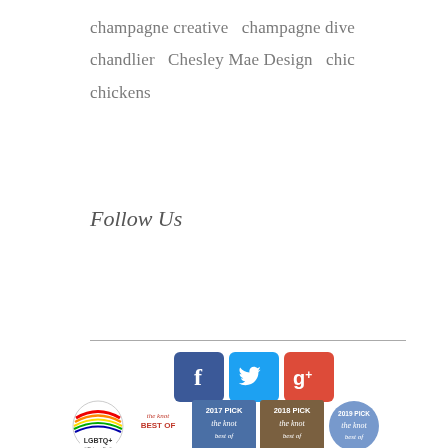champagne creative   champagne dive   chandlier   Chesley Mae Design   chic chickens
Follow Us
[Figure (other): Social media icons: Facebook (blue), Twitter (light blue), Google+ (red/orange), arranged horizontally]
[Figure (other): Footer badges: LGBTQ+ Friendly badge, The Knot Best Of logo, The Knot 2017 Pick badge, The Knot 2018 Pick badge, The Knot 2019 Pick badge (circle)]